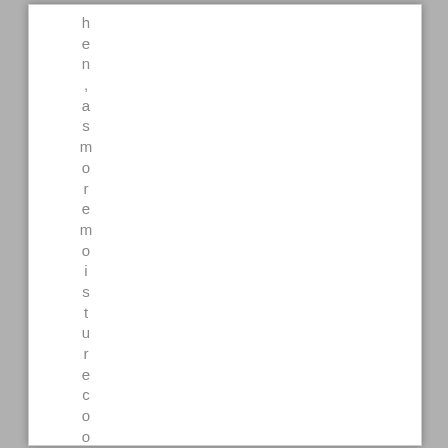hen, as more moisture cooks co...